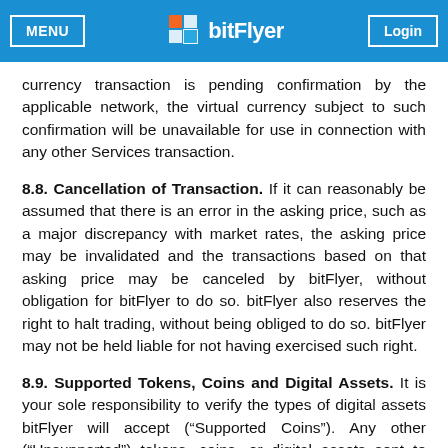MENU | bitFlyer | Login
currency transaction is pending confirmation by the applicable network, the virtual currency subject to such confirmation will be unavailable for use in connection with any other Services transaction.
8.8. Cancellation of Transaction. If it can reasonably be assumed that there is an error in the asking price, such as a major discrepancy with market rates, the asking price may be invalidated and the transactions based on that asking price may be canceled by bitFlyer, without obligation for bitFlyer to do so. bitFlyer also reserves the right to halt trading, without being obliged to do so. bitFlyer may not be held liable for not having exercised such right.
8.9. Supported Tokens, Coins and Digital Assets. It is your sole responsibility to verify the types of digital assets bitFlyer will accept (“Supported Coins”). Any other (“Unsupported”) tokens, coins, or digital assets sent to bitFlyer may be lost, destroyed or not returned to you. Additionally, there may be fees charged if bitFlyer attempts to retrieve the Unsupported tokens, coins, or digital assets to